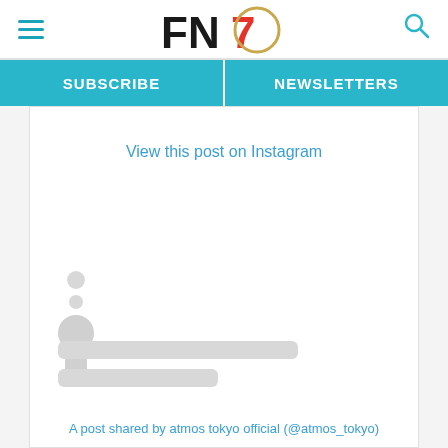FN7 — Footwear News header with hamburger menu, logo, and search icon
SUBSCRIBE
NEWSLETTERS
View this post on Instagram
[Figure (screenshot): Instagram embed loading placeholder with skeleton loader showing circles and bars]
A post shared by atmos tokyo official (@atmos_tokyo)